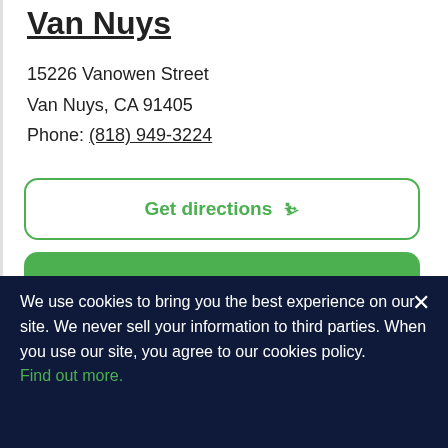Van Nuys
15226 Vanowen Street
Van Nuys, CA 91405
Phone: (818) 949-3224
Get directions ↗
More info
We use cookies to bring you the best experience on our site. We never sell your information to third parties. When you use our site, you agree to our cookies policy. Find out more.